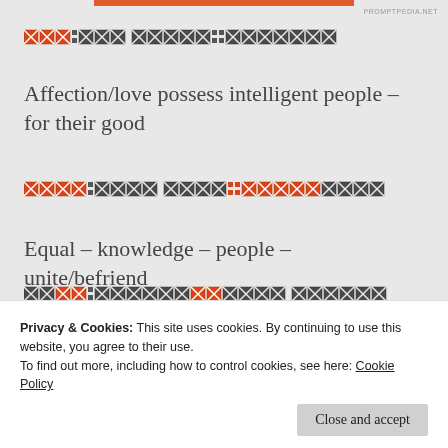[Figure (other): Orange horizontal bar at top center of page]
[redacted text line 1 - obscured with X boxes in orange and dark]
Affection/love possess intelligent people – for their good
[redacted text line 2 - obscured with X boxes in orange and dark]
Equal – knowledge – people – unite/befriend
[redacted text line 3 - obscured with X boxes in orange and dark]
Privacy & Cookies: This site uses cookies. By continuing to use this website, you agree to their use. To find out more, including how to control cookies, see here: Cookie Policy
Close and accept